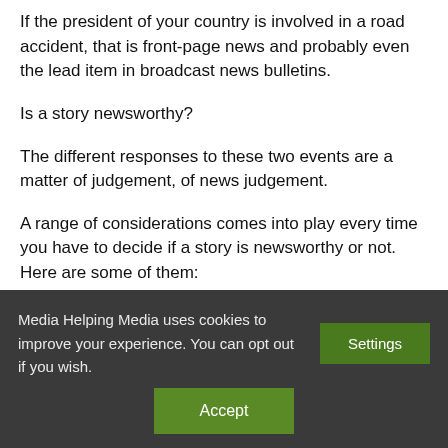If the president of your country is involved in a road accident, that is front-page news and probably even the lead item in broadcast news bulletins.
Is a story newsworthy?
The different responses to these two events are a matter of judgement, of news judgement.
A range of considerations comes into play every time you have to decide if a story is newsworthy or not. Here are some of them:
Media Helping Media uses cookies to improve your experience. You can opt out if you wish.